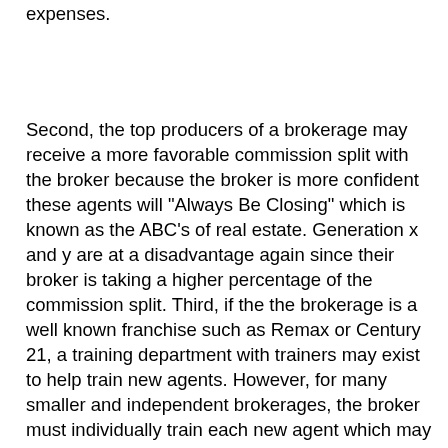expenses.
Second, the top producers of a brokerage may receive a more favorable commission split with the broker because the broker is more confident these agents will "Always Be Closing" which is known as the ABC's of real estate. Generation x and y are at a disadvantage again since their broker is taking a higher percentage of the commission split. Third, if the the brokerage is a well known franchise such as Remax or Century 21, a training department with trainers may exist to help train new agents. However, for many smaller and independent brokerages, the broker must individually train each new agent which may encompass a day or two of in-the-field property driving and in-house reviewing of the multiple listing service and many contract forms. In addition, a broker must also deal with the many political issues of which agent will work the sales floor during business hours along with distributing incoming calls from